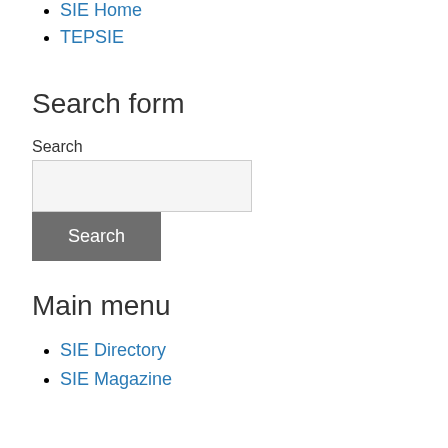SIE Home
TEPSIE
Search form
Search
Main menu
SIE Directory
SIE Magazine